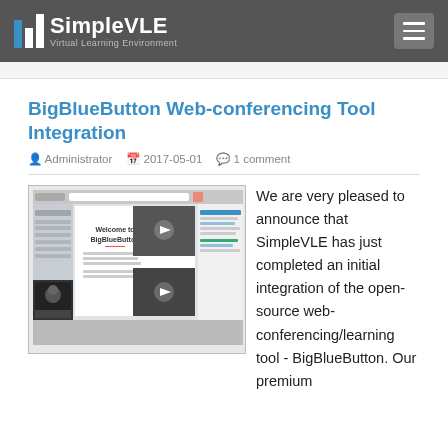SimpleVLE — Virtual Learning Environment
BigBlueButton Web-conferencing Tool Integration
Administrator  2017-05-01  1 comment
[Figure (screenshot): Screenshot of BigBlueButton web-conferencing interface showing Welcome to BigBlueButton presentation slide, video thumbnails, and chat panel]
We are very pleased to announce that SimpleVLE has just completed an initial integration of the open-source web-conferencing/learning tool - BigBlueButton. Our premium